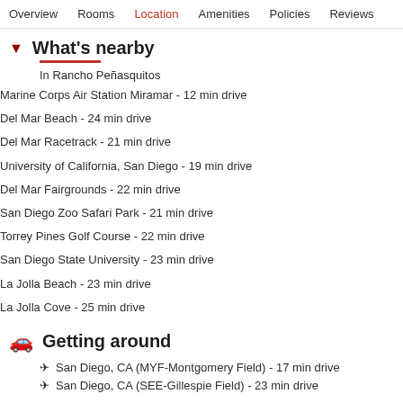Overview  Rooms  Location  Amenities  Policies  Reviews
What's nearby
In Rancho Peñasquitos
Marine Corps Air Station Miramar - 12 min drive
Del Mar Beach - 24 min drive
Del Mar Racetrack - 21 min drive
University of California, San Diego - 19 min drive
Del Mar Fairgrounds - 22 min drive
San Diego Zoo Safari Park - 21 min drive
Torrey Pines Golf Course - 22 min drive
San Diego State University - 23 min drive
La Jolla Beach - 23 min drive
La Jolla Cove - 25 min drive
Getting around
San Diego, CA (MYF-Montgomery Field) - 17 min drive
San Diego, CA (SEE-Gillespie Field) - 23 min drive